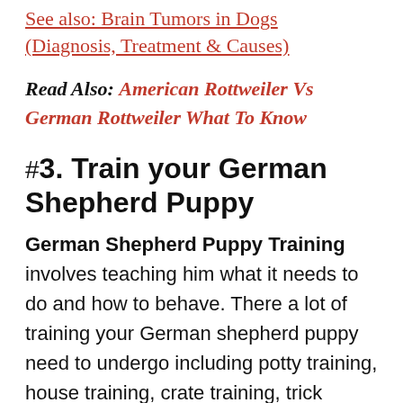See also: Brain Tumors in Dogs (Diagnosis, Treatment & Causes)
Read Also: American Rottweiler Vs German Rottweiler What To Know
#3. Train your German Shepherd Puppy
German Shepherd Puppy Training involves teaching him what it needs to do and how to behave. There a lot of training your German shepherd puppy need to undergo including potty training, house training, crate training, trick training and command training.